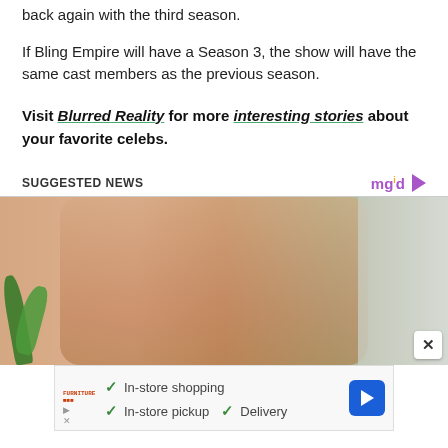back again with the third season.
If Bling Empire will have a Season 3, the show will have the same cast members as the previous season.
Visit Blurred Reality for more interesting stories about your favorite celebs.
SUGGESTED NEWS
[Figure (photo): Advertisement photo showing a person in athletic wear, with a plant visible in the lower left and a light-colored room in the background.]
[Figure (infographic): Advertisement for a furniture store showing: In-store shopping, In-store pickup, Delivery options with checkmarks, a navigation/direction icon in blue diamond shape, and furniture store logo.]